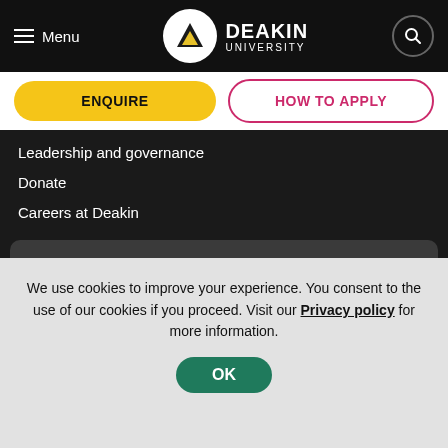Menu | Deakin University
ENQUIRE
HOW TO APPLY
Leadership and governance
Donate
Careers at Deakin
ATAR CALCULATOR
STUDY SCORE CALCULATOR
We use cookies to improve your experience. You consent to the use of our cookies if you proceed. Visit our Privacy policy for more information.
OK